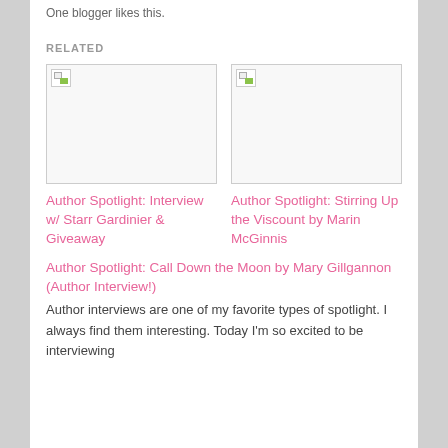One blogger likes this.
RELATED
[Figure (illustration): Broken/placeholder image thumbnail for Author Spotlight: Interview w/ Starr Gardinier & Giveaway]
Author Spotlight: Interview w/ Starr Gardinier & Giveaway
[Figure (illustration): Broken/placeholder image thumbnail for Author Spotlight: Stirring Up the Viscount by Marin McGinnis]
Author Spotlight: Stirring Up the Viscount by Marin McGinnis
Author Spotlight: Call Down the Moon by Mary Gillgannon (Author Interview!)
Author interviews are one of my favorite types of spotlight. I always find them interesting. Today I'm so excited to be interviewing